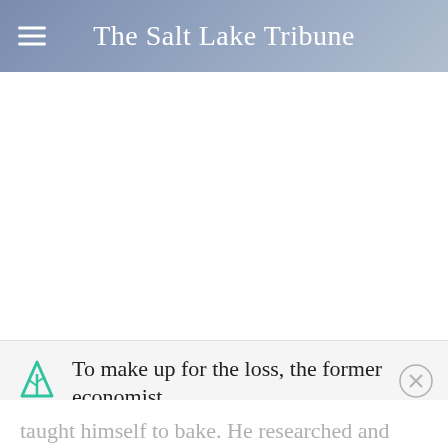The Salt Lake Tribune
To make up for the loss, the former economist taught himself to bake. He researched and tested recipes, getting feedback from family and friends. He even returned to California for a
[Figure (logo): The Salt Lake Tribune masthead logo in white text on blue-grey gradient header background, with hamburger menu icon on the left.]